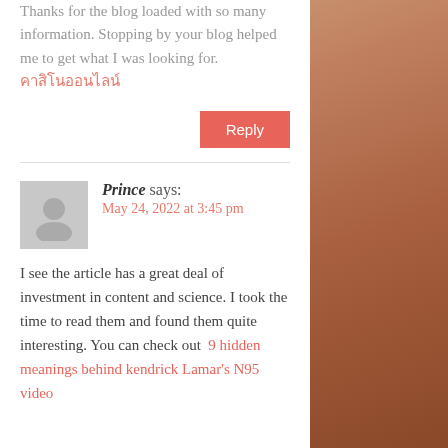Thanks for the blog loaded with so many information. Stopping by your blog helped me to get what I was looking for. คาสิโนออนไลน์
Reply
Prince says: May 24, 2022 at 3:45 pm
I see the article has a great deal of investment in content and science. I took the time to read them and found them quite interesting. You can check out  9 hidden meanings behind kendrick Lamar's N95 video